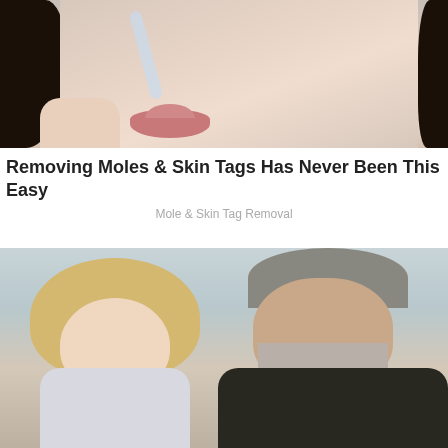[Figure (photo): Close-up photo of a woman's face applying something to her nose with a strip/tape, with long dark hair]
Removing Moles & Skin Tags Has Never Been This Easy
Mole & Skin Tag Removal
[Figure (photo): Photo of an older couple smiling together — a blonde woman and an older man with a white beard wearing a dark suit]